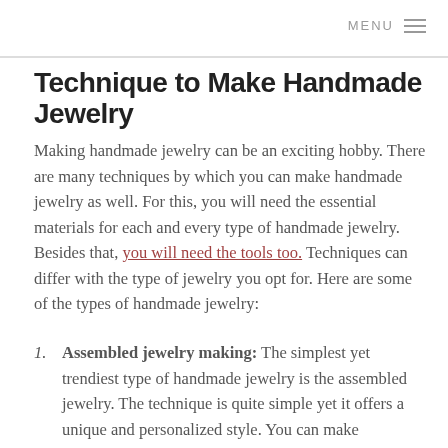MENU ≡
Technique to Make Handmade Jewelry
Making handmade jewelry can be an exciting hobby. There are many techniques by which you can make handmade jewelry as well. For this, you will need the essential materials for each and every type of handmade jewelry. Besides that, you will need the tools too. Techniques can differ with the type of jewelry you opt for. Here are some of the types of handmade jewelry:
Assembled jewelry making: The simplest yet trendiest type of handmade jewelry is the assembled jewelry. The technique is quite simple yet it offers a unique and personalized style. You can make necklaces, bracelets